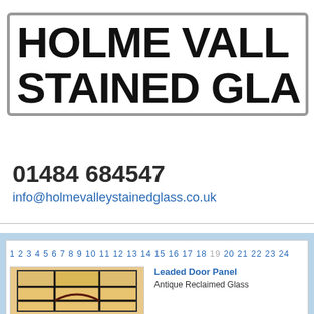HOLME VALLEY STAINED GLASS
01484 684547
info@holmevalleystainedglass.co.uk
[Figure (photo): Stained glass leaded door panel with antique reclaimed glass, geometric design with arch motif]
Leaded Door Panel
Antique Reclaimed Glass